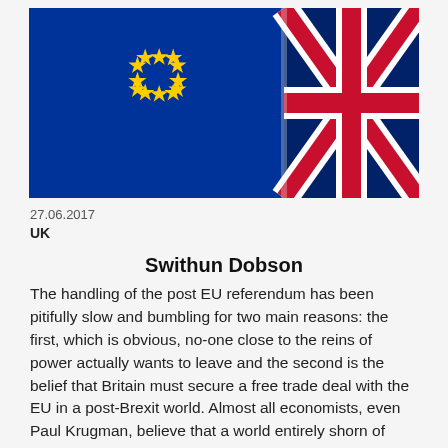[Figure (photo): EU flag (blue with yellow stars) and Union Jack flag side by side, close-up shot]
27.06.2017
UK
Swithun Dobson
The handling of the post EU referendum has been pitifully slow and bumbling for two main reasons: the first, which is obvious, no-one close to the reins of power actually wants to leave and the second is the belief that Britain must secure a free trade deal with the EU in a post-Brexit world. Almost all economists, even Paul Krugman, believe that a world entirely shorn of tariffs would be a better place. Each country would be able to specialise where it has its comparative advantage (a situation of having a lower opportunity cost than another country in producing that good), leading to lower